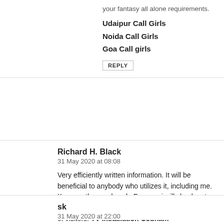your fantasy all alone requirements.
Udaipur Call Girls
Noida Call Girls
Goa Call girls
REPLY
Richard H. Black
31 May 2020 at 08:08
Very efficiently written information. It will be beneficial to anybody who utilizes it, including me. Keep up the good work. For sure i will check out more posts. This site seems to get a good amount of visitors. TV Installation Cobham
REPLY
sk
31 May 2020 at 22:00